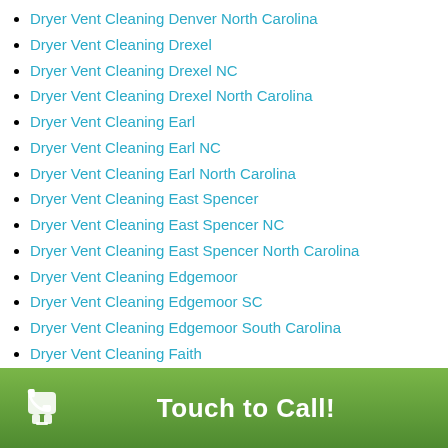Dryer Vent Cleaning Denver North Carolina
Dryer Vent Cleaning Drexel
Dryer Vent Cleaning Drexel NC
Dryer Vent Cleaning Drexel North Carolina
Dryer Vent Cleaning Earl
Dryer Vent Cleaning Earl NC
Dryer Vent Cleaning Earl North Carolina
Dryer Vent Cleaning East Spencer
Dryer Vent Cleaning East Spencer NC
Dryer Vent Cleaning East Spencer North Carolina
Dryer Vent Cleaning Edgemoor
Dryer Vent Cleaning Edgemoor SC
Dryer Vent Cleaning Edgemoor South Carolina
Dryer Vent Cleaning Faith
Dryer Vent Cleaning Faith NC
Dryer Vent Cleaning Faith North Carolina
Dryer Vent Cleaning Fallston
Dryer Vent Cleaning Fallston NC
Touch to Call!